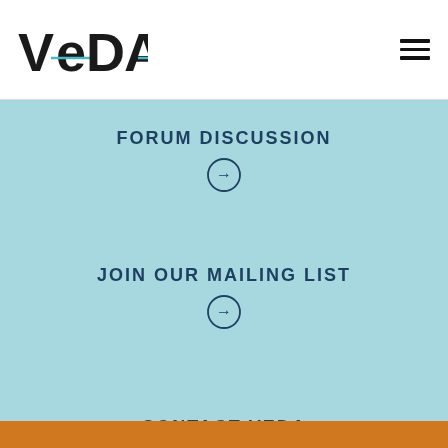[Figure (logo): VEDA logo in dark color with teal accent line through the E]
FORUM DISCUSSION
JOIN OUR MAILING LIST
CONTACT VEDA